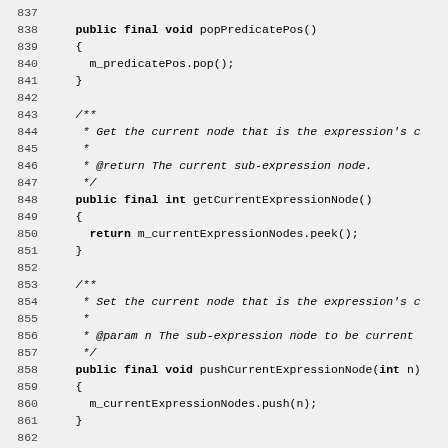Code listing lines 837-866 showing Java methods popPredicatePos(), getCurrentExpressionNode(), pushCurrentExpressionNode(int n), and start of another method with Javadoc comments.